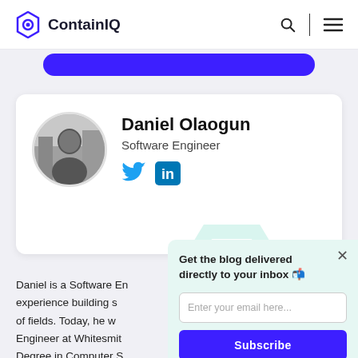ContainIQ
[Figure (screenshot): Purple rounded button banner strip]
[Figure (photo): Circular profile photo of Daniel Olaogun, black and white]
Daniel Olaogun
Software Engineer
[Figure (logo): Twitter bird icon (blue) and LinkedIn icon (blue square with 'in')]
Daniel is a Software En... experience building s... of fields. Today, he w... Engineer at Whitesmit... Degree in Computer S... Lagos.